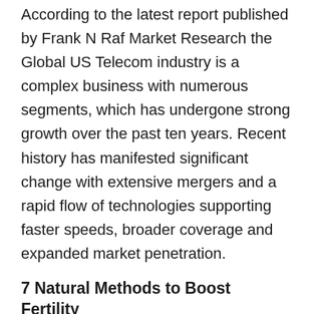According to the latest report published by Frank N Raf Market Research the Global US Telecom industry is a complex business with numerous segments, which has undergone strong growth over the past ten years. Recent history has manifested significant change with extensive mergers and a rapid flow of technologies supporting faster speeds, broader coverage and expanded market penetration.
7 Natural Methods to Boost Fertility
When it comes to fertility improvement, you should know that it is something a lot of couples can use. Nearly 15% of all people have some problems in regards to conception. Numerous reasons contribute to this. What is more important though is that there are many ways to help with fertility problems. Even though most of them